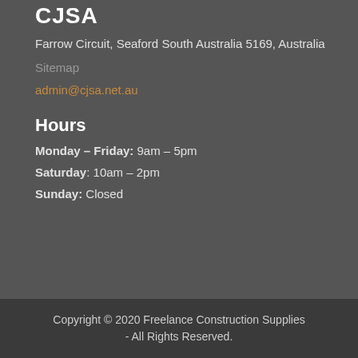CJSA
Farrow Circuit, Seaford South Australia 5169, Australia
Sitemap
admin@cjsa.net.au
Hours
Monday – Friday: 9am – 5pm
Saturday: 10am – 2pm
Sunday: Closed
Copyright © 2020 Freelance Construction Supplies - All Rights Reserved.